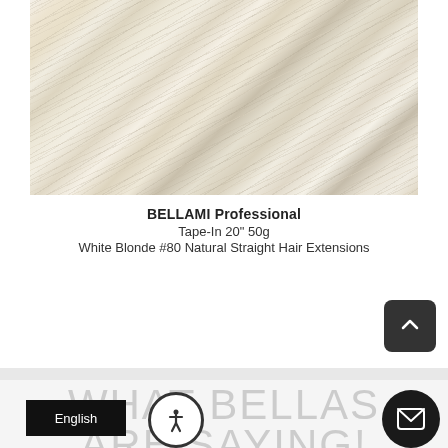[Figure (photo): Close-up photo of white blonde natural straight hair extensions showing the texture and color, light cream/platinum blonde tones with visible hair strands]
BELLAMI Professional
Tape-In 20" 50g
White Blonde #80 Natural Straight Hair Extensions
[Figure (other): Back to top button - dark gray rounded square with upward-pointing chevron arrow]
WHAT BELLAS
ARE SAYING!
[Figure (other): Accessibility icon - circle with person/human figure symbol]
English
[Figure (other): Email/chat bubble icon - dark circle with envelope symbol]